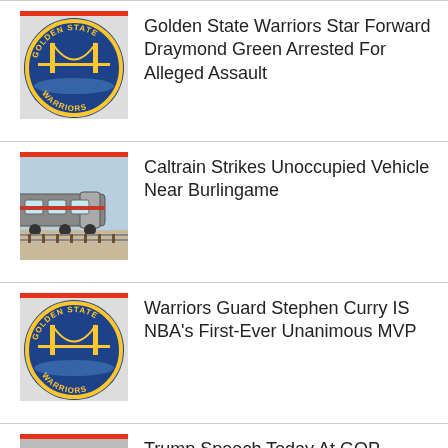Golden State Warriors Star Forward Draymond Green Arrested For Alleged Assault
Caltrain Strikes Unoccupied Vehicle Near Burlingame
Warriors Guard Stephen Curry IS NBA's First-Ever Unanimous MVP
Trump Speech Today At GOP Convention Expected To Draw Large Protests
Man Found Dead At Apple